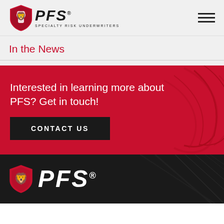[Figure (logo): PFS Specialty Risk Underwriters logo with red lion shield and bold italic PFS wordmark]
In the News
Interested in learning more about PFS? Get in touch!
CONTACT US
[Figure (logo): PFS Specialty Risk Underwriters footer logo with red shield and white PFS wordmark on dark background]